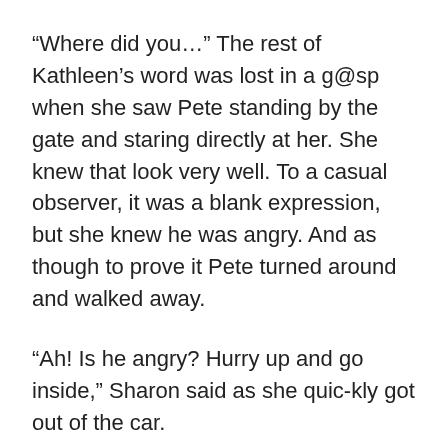“Where did you…” The rest of Kathleen’s word was lost in a g@sp when she saw Pete standing by the gate and staring directly at her. She knew that look very well. To a casual observer, it was a blank expression, but she knew he was angry. And as though to prove it Pete turned around and walked away.
“Ah! Is he angry? Hurry up and go inside,” Sharon said as she quic-kly got out of the car.
“You still want to come in?” Kathleen asked Chuka as she got out of the car. A p@rt of her still wanted him to come in and see her mother, but the other p@rt just wanted him to leave so she could go and talk to Pete.
“Maybe some other time. Something c@m£ up so I need to leave now. Let’s talk later,” Chuka said with an